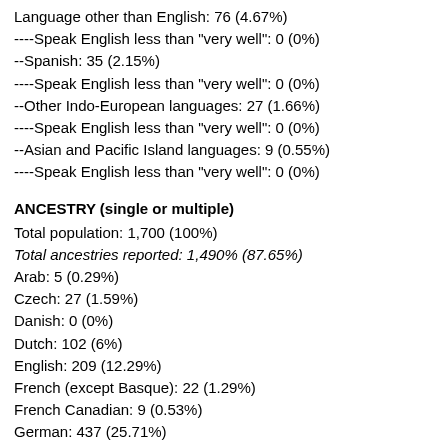Language other than English: 76 (4.67%)
----Speak English less than "very well": 0 (0%)
--Spanish: 35 (2.15%)
----Speak English less than "very well": 0 (0%)
--Other Indo-European languages: 27 (1.66%)
----Speak English less than "very well": 0 (0%)
--Asian and Pacific Island languages: 9 (0.55%)
----Speak English less than "very well": 0 (0%)
ANCESTRY (single or multiple)
Total population: 1,700 (100%)
Total ancestries reported: 1,490% (87.65%)
Arab: 5 (0.29%)
Czech: 27 (1.59%)
Danish: 0 (0%)
Dutch: 102 (6%)
English: 209 (12.29%)
French (except Basque): 22 (1.29%)
French Canadian: 9 (0.53%)
German: 437 (25.71%)
Greek: 4 (0.24%)
Hungarian: 0 (0%)
Irish: 177 (10.41%)
Italian: 20 (1.18%)
Lithuanian: 0 (0%)
Norwegian: 4 (0.24%)
Polish: 5 (0.29%)
Portuguese: 0 (0%)
Russian: 0 (0%)
Scotch-Irish: 41 (2.41%)